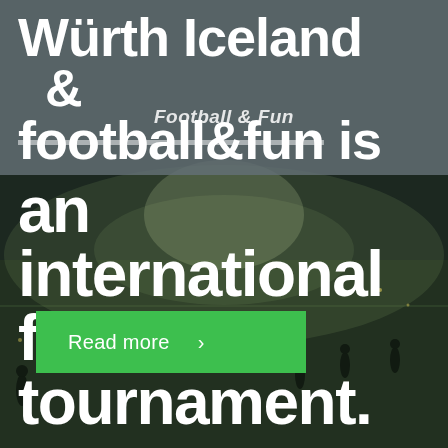[Figure (photo): Night football match on a grass field with players visible under stadium lights. Dark atmospheric background with green field surface.]
Würth Iceland & football&fun is an international football tournament.
Football & Fun
Read more >